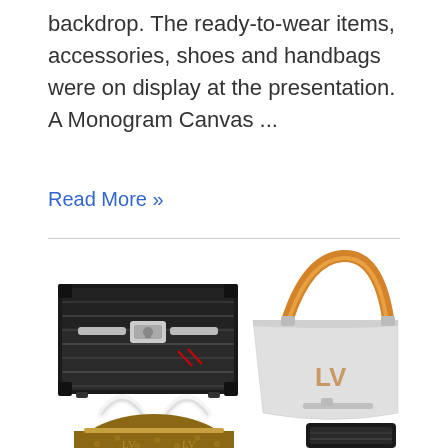backdrop. The ready-to-wear items, accessories, shoes and handbags were on display at the presentation. A Monogram Canvas ...
Read More »
[Figure (photo): Three Louis Vuitton handbags displayed: a black and white trunk/petite malle bag (top left), a light gray structured tote with orange handle and LV logo (top right), and a monogram canvas speedy bag with white handles (bottom left). A partial view of a dark item appears at bottom right.]